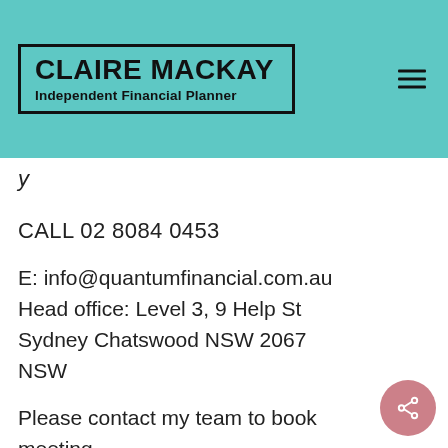CLAIRE MACKAY Independent Financial Planner
y
CALL 02 8084 0453
E: info@quantumfinancial.com.au
Head office: Level 3, 9 Help St
Sydney Chatswood NSW 2067
NSW
Please contact my team to book meeting.